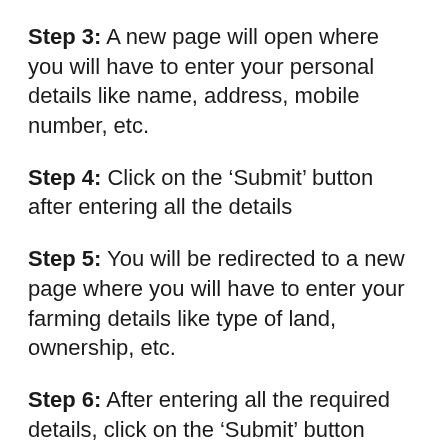Step 3: A new page will open where you will have to enter your personal details like name, address, mobile number, etc.
Step 4: Click on the ‘Submit’ button after entering all the details
Step 5: You will be redirected to a new page where you will have to enter your farming details like type of land, ownership, etc.
Step 6: After entering all the required details, click on the ‘Submit’ button
Step 7: Your registration will be completed and you will get a confirmation message on the screen. You will also receive an SMS on